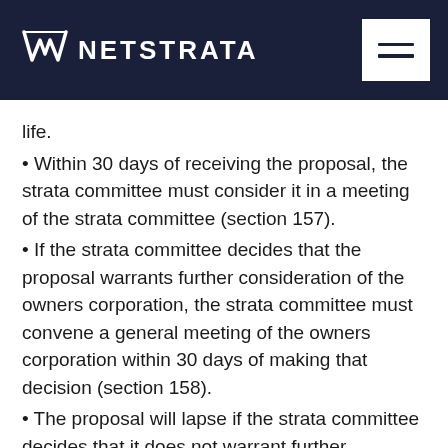NETSTRATA
life.
Within 30 days of receiving the proposal, the strata committee must consider it in a meeting of the strata committee (section 157).
If the strata committee decides that the proposal warrants further consideration of the owners corporation, the strata committee must convene a general meeting of the owners corporation within 30 days of making that decision (section 158).
The proposal will lapse if the strata committee decides that it does not warrant further consideration (section…)